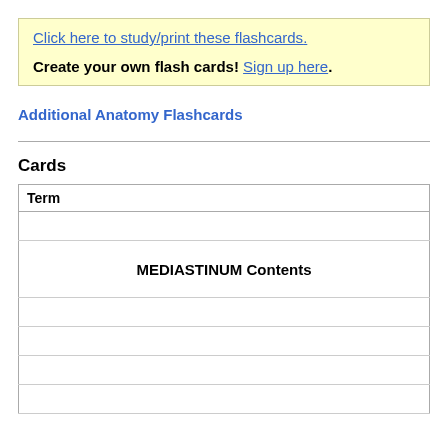Click here to study/print these flashcards. Create your own flash cards! Sign up here.
Additional Anatomy Flashcards
Cards
| Term |
| --- |
|  |
| MEDIASTINUM Contents |
|  |
|  |
|  |
|  |